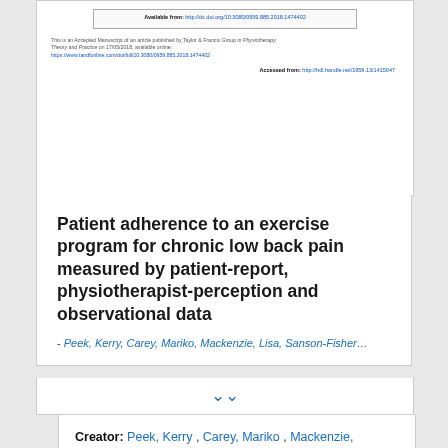[Figure (screenshot): Cropped document preview showing 'Available from:' URL, manuscript acceptance note with Taylor & Francis Group / Physiotherapy Theory and Practice publication info, and 'Accessed from:' HDL handle link.]
Patient adherence to an exercise program for chronic low back pain measured by patient-report, physiotherapist-perception and observational data
- Peek, Kerry, Carey, Mariko, Mackenzie, Lisa, Sanson-Fisher...
Creator: Peek, Kerry , Carey, Mariko , Mackenzie,